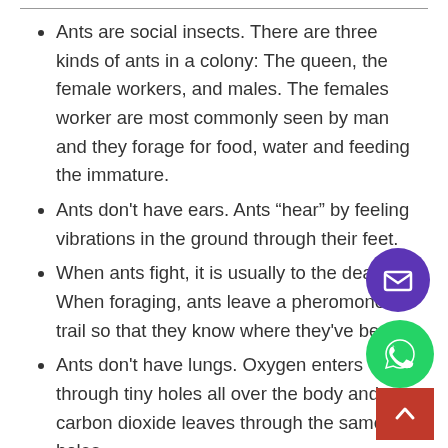Ants are social insects. There are three kinds of ants in a colony: The queen, the female workers, and males. The females worker are most commonly seen by man and they forage for food, water and feeding the immature.
Ants don't have ears. Ants “hear” by feeling vibrations in the ground through their feet.
When ants fight, it is usually to the death. When foraging, ants leave a pheromone trail so that they know where they've been,
Ants don't have lungs. Oxygen enters through tiny holes all over the body and carbon dioxide leaves through the same holes.
When the queen of the colony dies, the colony can only survive a few months. Queens are rarely replaced and the workers are not able to reproduce.